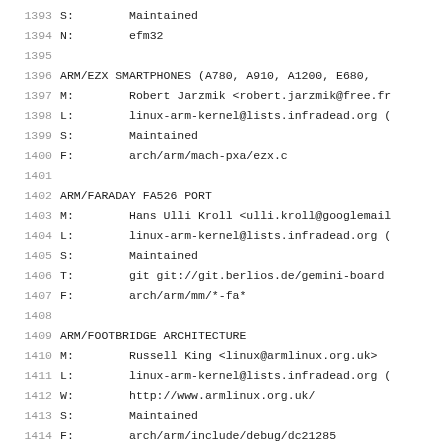1393	S:	Maintained
1394	N:	efm32
1395
1396	ARM/EZX SMARTPHONES (A780, A910, A1200, E680,
1397	M:	Robert Jarzmik <robert.jarzmik@free.fr
1398	L:	linux-arm-kernel@lists.infradead.org (
1399	S:	Maintained
1400	F:	arch/arm/mach-pxa/ezx.c
1401
1402	ARM/FARADAY FA526 PORT
1403	M:	Hans Ulli Kroll <ulli.kroll@googlemail
1404	L:	linux-arm-kernel@lists.infradead.org (
1405	S:	Maintained
1406	T:	git git://git.berlios.de/gemini-board
1407	F:	arch/arm/mm/*-fa*
1408
1409	ARM/FOOTBRIDGE ARCHITECTURE
1410	M:	Russell King <linux@armlinux.org.uk>
1411	L:	linux-arm-kernel@lists.infradead.org (
1412	W:	http://www.armlinux.org.uk/
1413	S:	Maintained
1414	F:	arch/arm/include/debug/dc21285...